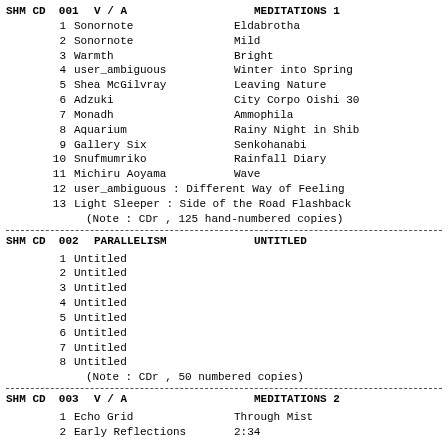| ID | Artist/Label | Title |
| --- | --- | --- |
| SHM CD 001 | V / A | MEDITATIONS 1 |
| 1 | Sonornote | Eldabrotha |
| 2 | Sonornote | Mild |
| 3 | Warmth | Bright |
| 4 | user_ambiguous | Winter into Spring |
| 5 | Shea McGilvray | Leaving Nature |
| 6 | Adzuki | City Corpo Oishi 30 |
| 7 | Monadh | Ammophila |
| 8 | Aquarium | Rainy Night in Shib |
| 9 | Gallery Six | Senkohanabi |
| 10 | Snufmumriko | Rainfall Diary |
| 11 | Michiru Aoyama | Wave |
| 12 | user_ambiguous : Different Way of Feeling |  |
| 13 | Light Sleeper : Side of the Road Flashback |  |
|  | (Note : CDr , 125 hand-numbered copies) |  |
| SHM CD 002 | PARALLELISM | UNTITLED |
| 1 | Untitled |  |
| 2 | Untitled |  |
| 3 | Untitled |  |
| 4 | Untitled |  |
| 5 | Untitled |  |
| 6 | Untitled |  |
| 7 | Untitled |  |
| 8 | Untitled |  |
|  | (Note : CDr , 50 numbered copies) |  |
| SHM CD 003 | V / A | MEDITATIONS 2 |
| 1 | Echo Grid | Through Mist |
| 2 | Early Reflections | 2:34 |